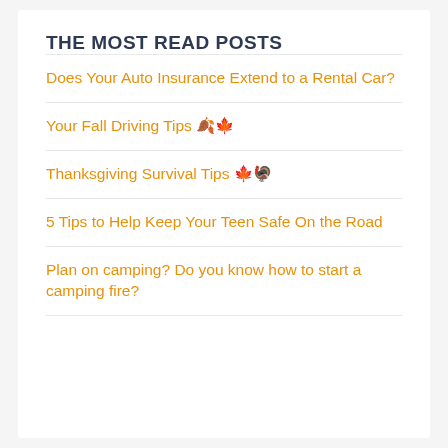THE MOST READ POSTS
Does Your Auto Insurance Extend to a Rental Car?
Your Fall Driving Tips 🍂🍁
Thanksgiving Survival Tips 🍁🦃
5 Tips to Help Keep Your Teen Safe On the Road
Plan on camping? Do you know how to start a camping fire?